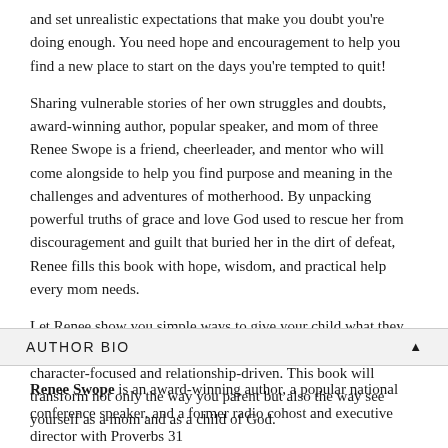and set unrealistic expectations that make you doubt you're doing enough. You need hope and encouragement to help you find a new place to start on the days you're tempted to quit!
Sharing vulnerable stories of her own struggles and doubts, award-winning author, popular speaker, and mom of three Renee Swope is a friend, cheerleader, and mentor who will come alongside to help you find purpose and meaning in the challenges and adventures of motherhood. By unpacking powerful truths of grace and love God used to rescue her from discouragement and guilt that buried her in the dirt of defeat, Renee fills this book with hope, wisdom, and practical help every mom needs.
Let Renee show you simple ways to give your child what they need most through the power of heart-centered parenting that is character-focused and relationship-driven. This book will transform not only the way you parent but also the way see yourself as a mom and as a child of God.
AUTHOR BIO
Renee Swope is an award-winning author, a popular national conference speaker, and a former radio cohost and executive director with Proverbs 31